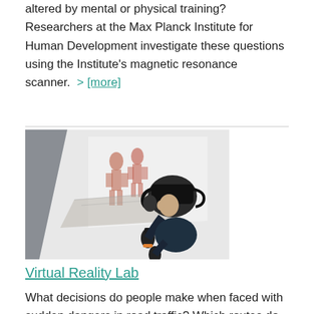altered by mental or physical training? Researchers at the Max Planck Institute for Human Development investigate these questions using the Institute's magnetic resonance scanner.  > [more]
[Figure (photo): A person wearing a VR headset and holding two motion controllers, looking upward toward a projected screen showing two human figures on a structure. The lab environment has a light background with projected imagery.]
Virtual Reality Lab
What decisions do people make when faced with sudden dangers in road traffic? Which routes do they use to escape burning buildings? How does the weather affect people's